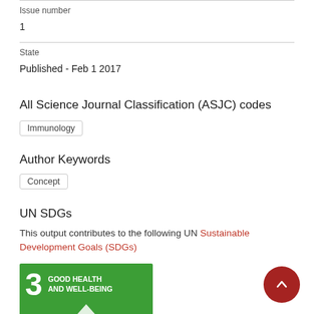Issue number
1
State
Published - Feb 1 2017
All Science Journal Classification (ASJC) codes
Immunology
Author Keywords
Concept
UN SDGs
This output contributes to the following UN Sustainable Development Goals (SDGs)
[Figure (other): UN SDG 3 badge: Good Health and Well-Being, green background with number 3 and icon]